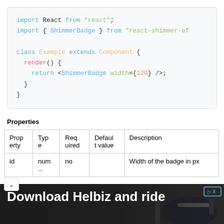[Figure (screenshot): Code block showing React import and class component example using ShimmerBadge]
Properties
| Property | Type | Required | Default value | Description |
| --- | --- | --- | --- | --- |
| id | num | no |  | Width of the badge in px |
[Figure (photo): Advertisement banner: Download Helbiz and ride, showing a scooter handlebar photo]